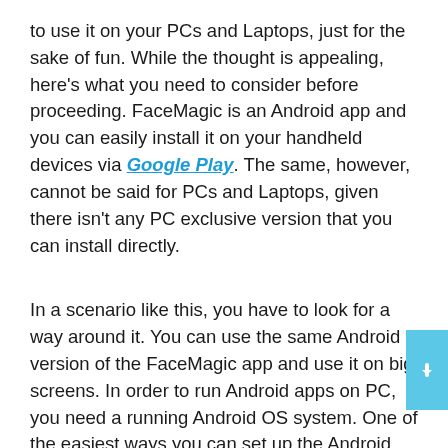to use it on your PCs and Laptops, just for the sake of fun. While the thought is appealing, here's what you need to consider before proceeding. FaceMagic is an Android app and you can easily install it on your handheld devices via Google Play. The same, however, cannot be said for PCs and Laptops, given there isn't any PC exclusive version that you can install directly.
In a scenario like this, you have to look for a way around it. You can use the same Android version of the FaceMagic app and use it on big screens. In order to run Android apps on PC, you need a running Android OS system. One of the easiest ways you can set up the Android platform on PCs and Laptops is through Android Emulators. For those of you who haven't come across Emulators, we have shed light on the Emulators as well as the installation process in the section below.